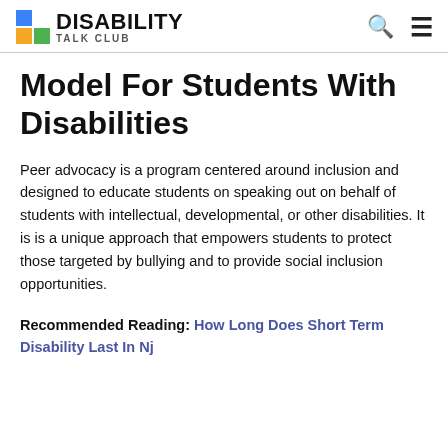DISABILITY TALK CLUB
Model For Students With Disabilities
Peer advocacy is a program centered around inclusion and designed to educate students on speaking out on behalf of students with intellectual, developmental, or other disabilities. It is is a unique approach that empowers students to protect those targeted by bullying and to provide social inclusion opportunities.
Recommended Reading: How Long Does Short Term Disability Last In Nj